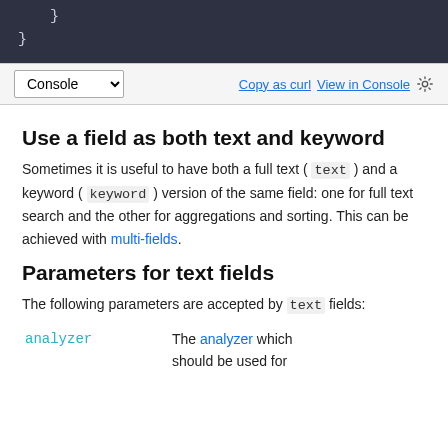[Figure (screenshot): Dark code editor panel showing closing braces of a JSON/code block, with a Console toolbar bar below containing a Console dropdown and 'Copy as curl' and 'View in Console' links with a settings gear icon.]
Use a field as both text and keyword
Sometimes it is useful to have both a full text ( text ) and a keyword ( keyword ) version of the same field: one for full text search and the other for aggregations and sorting. This can be achieved with multi-fields.
Parameters for text fields
The following parameters are accepted by text fields:
analyzer    The analyzer which should be used for